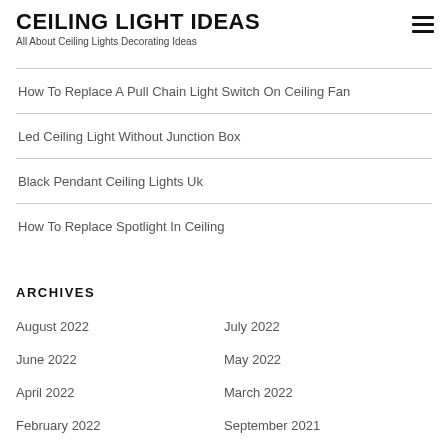CEILING LIGHT IDEAS
All About Ceiling Lights Decorating Ideas
How To Replace A Pull Chain Light Switch On Ceiling Fan
Led Ceiling Light Without Junction Box
Black Pendant Ceiling Lights Uk
How To Replace Spotlight In Ceiling
ARCHIVES
August 2022
July 2022
June 2022
May 2022
April 2022
March 2022
February 2022
September 2021